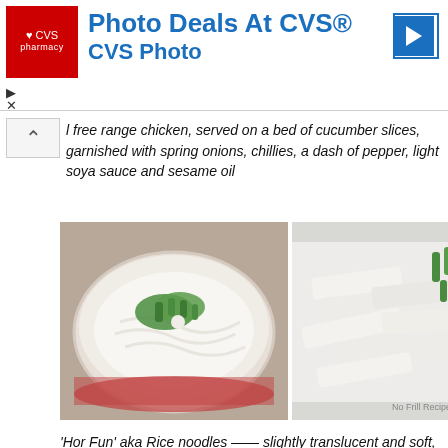[Figure (screenshot): CVS Pharmacy advertisement banner with red logo, 'Photo Deals At CVS' headline in blue, blue arrow icon, and play/close controls]
l free range chicken, served on a bed of cucumber slices, garnished with spring onions, chillies, a dash of pepper, light soya sauce and sesame oil
[Figure (photo): Two food photos side by side: left shows white rice noodles with green spring onions in a white bowl; right shows flat wide rice noodles (hor fun) with green vegetables and chopsticks, watermarked No Frills Recipes]
'Hor Fun' aka Rice noodles — slightly translucent and soft, smooth texture immersed in a sweet, tasty broth ——Yummy!
[Figure (photo): Two food photos side by side at bottom: left shows a bowl with shrimp/seafood dish; right shows chicken pieces with red chilies and green herbs on a white plate]